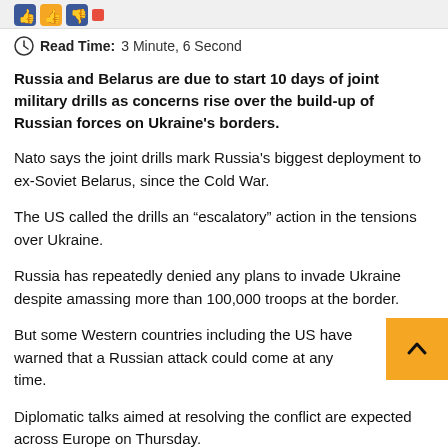[Figure (logo): Social media icons (Facebook thumbs up and thumbs down) at top of article page]
Read Time: 3 Minute, 6 Second
Russia and Belarus are due to start 10 days of joint military drills as concerns rise over the build-up of Russian forces on Ukraine's borders.
Nato says the joint drills mark Russia's biggest deployment to ex-Soviet Belarus, since the Cold War.
The US called the drills an “escalatory” action in the tensions over Ukraine.
Russia has repeatedly denied any plans to invade Ukraine despite amassing more than 100,000 troops at the border.
But some Western countries including the US have warned that a Russian attack could come at any time.
Diplomatic talks aimed at resolving the conflict are expected across Europe on Thursday.